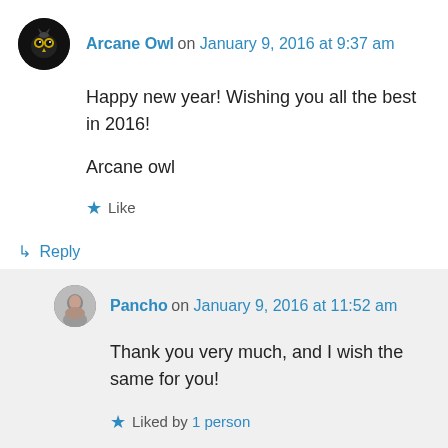Arcane Owl on January 9, 2016 at 9:37 am
Happy new year! Wishing you all the best in 2016!

Arcane owl
★ Like
↳ Reply
Pancho on January 9, 2016 at 11:52 am
Thank you very much, and I wish the same for you!
★ Liked by 1 person
↳ Reply